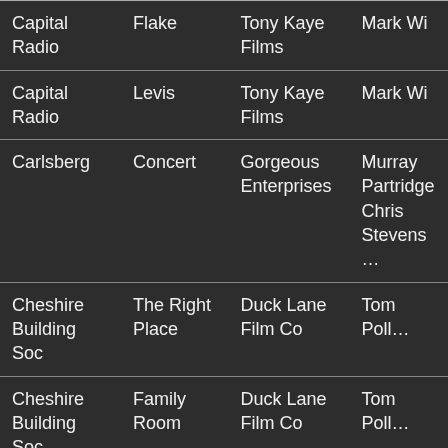| Client | Product | Production Company | Director |
| --- | --- | --- | --- |
| Capital Radio | Flake | Tony Kaye Films | Mark Wi… |
| Capital Radio | Levis | Tony Kaye Films | Mark Wi… |
| Carlsberg | Concert | Gorgeous Enterprises | Murray Partridge Chris Stevens… |
| Cheshire Building Soc | The Right Place | Duck Lane Film Co | Tom Poll… |
| Cheshire Building Soc | Family Room | Duck Lane Film Co | Tom Poll… |
| Childline | On the Line | Federation Prods | Anthea Benton |